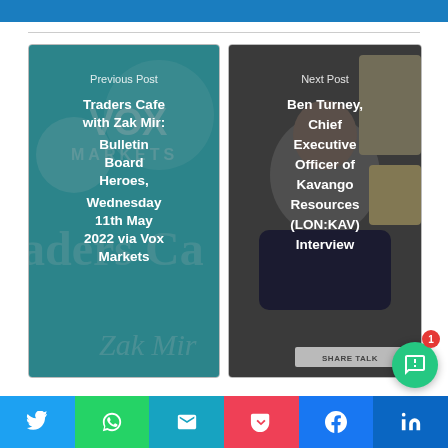[Figure (screenshot): Blue header banner at top of webpage]
[Figure (screenshot): Previous Post thumbnail: Traders Cafe with Zak Mir Bulletin Board Heroes Wednesday 11th May 2022 via Vox Markets - teal/turquoise branded image with Vox Markets logo]
Previous Post
Traders Cafe with Zak Mir: Bulletin Board Heroes, Wednesday 11th May 2022 via Vox Markets
[Figure (screenshot): Next Post thumbnail: Ben Turney Chief Executive Officer of Kavango Resources (LON:KAV) Interview - person's face visible, Share Talk branding]
Next Post
Ben Turney, Chief Executive Officer of Kavango Resources (LON:KAV) Interview
[Figure (screenshot): Social share buttons row: Twitter (blue), WhatsApp (green), Email (teal), Pocket (red), Facebook (blue), LinkedIn (dark blue)]